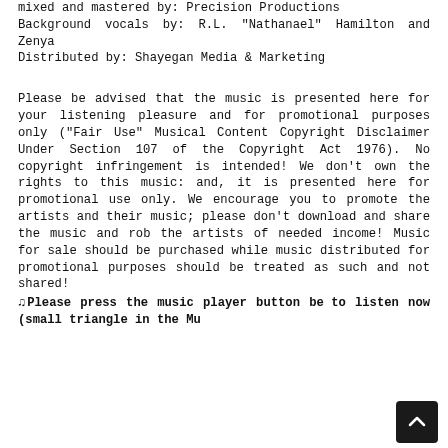mixed and mastered by: Precision Productions
Background vocals by: R.L. "Nathanael" Hamilton and Zenya
Distributed by: Shayegan Media & Marketing
Please be advised that the music is presented here for your listening pleasure and for promotional purposes only ("Fair Use" Musical Content Copyright Disclaimer Under Section 107 of the Copyright Act 1976). No copyright infringement is intended! We don't own the rights to this music: and, it is presented here for promotional use only. We encourage you to promote the artists and their music; please don't download and share the music and rob the artists of needed income! Music for sale should be purchased while music distributed for promotional purposes should be treated as such and not shared!
♫Please press the music player button below to listen now (small triangle in the Music